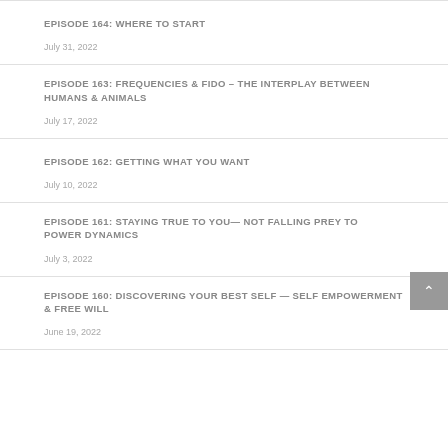EPISODE 164: WHERE TO START
July 31, 2022
EPISODE 163: FREQUENCIES & FIDO – THE INTERPLAY BETWEEN HUMANS & ANIMALS
July 17, 2022
EPISODE 162: GETTING WHAT YOU WANT
July 10, 2022
EPISODE 161: STAYING TRUE TO YOU— NOT FALLING PREY TO POWER DYNAMICS
July 3, 2022
EPISODE 160: DISCOVERING YOUR BEST SELF — SELF EMPOWERMENT & FREE WILL
June 19, 2022